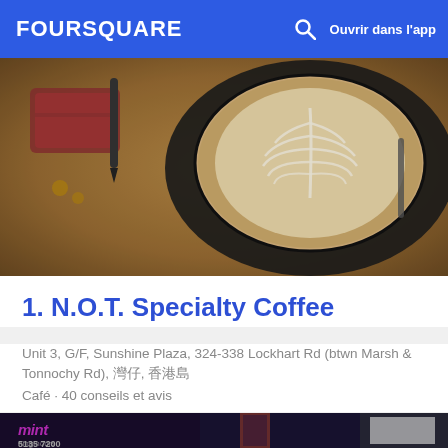FOURSQUARE  🔍  Ouvrir dans l'app
[Figure (photo): Top-down view of a latte coffee with leaf latte art in a black cup, on a wooden surface with a wallet and other items nearby]
1. N.O.T. Specialty Coffee
Unit 3, G/F, Sunshine Plaza, 324-338 Lockhart Rd (btwn Marsh & Tonnochy Rd), 灣仔, 香港島
Café · 40 conseils et avis
[Figure (photo): Street-level photo showing a shop front with 'mint' signage in pink/magenta, phone number 5135 7200, and adjacent alley with lit interior and whiteboard]